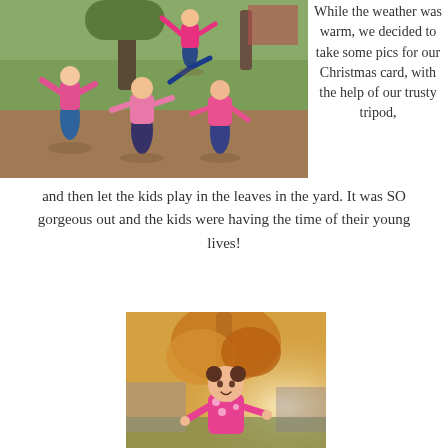[Figure (photo): Children playing outdoors in a park/yard area, jumping and dancing on gravel/ground. Trees and grass visible in background.]
While the weather was warm, we decided to take some pics for our Christmas card, with the help of our trusty tripod, and then let the kids play in the leaves in the yard. It was SO gorgeous out and the kids were having the time of their young lives!
[Figure (photo): A young girl in a pink polka dot top standing near a tree with autumn foliage in golden sunlight.]